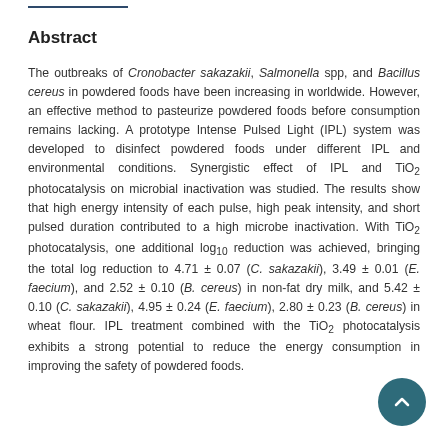Abstract
The outbreaks of Cronobacter sakazakii, Salmonella spp, and Bacillus cereus in powdered foods have been increasing in worldwide. However, an effective method to pasteurize powdered foods before consumption remains lacking. A prototype Intense Pulsed Light (IPL) system was developed to disinfect powdered foods under different IPL and environmental conditions. Synergistic effect of IPL and TiO2 photocatalysis on microbial inactivation was studied. The results show that high energy intensity of each pulse, high peak intensity, and short pulsed duration contributed to a high microbe inactivation. With TiO2 photocatalysis, one additional log10 reduction was achieved, bringing the total log reduction to 4.71 ± 0.07 (C. sakazakii), 3.49 ± 0.01 (E. faecium), and 2.52 ± 0.10 (B. cereus) in non-fat dry milk, and 5.42 ± 0.10 (C. sakazakii), 4.95 ± 0.24 (E. faecium), 2.80 ± 0.23 (B. cereus) in wheat flour. IPL treatment combined with the TiO2 photocatalysis exhibits a strong potential to reduce the energy consumption in improving the safety of powdered foods.